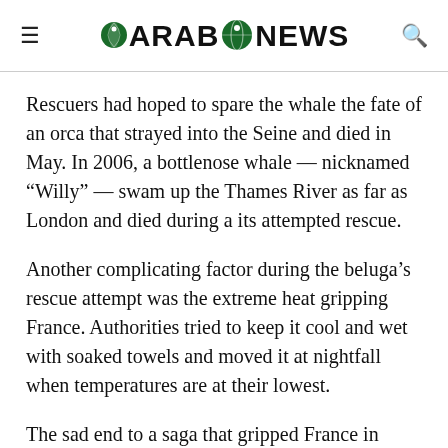ARAB NEWS
Rescuers had hoped to spare the whale the fate of an orca that strayed into the Seine and died in May. In 2006, a bottlenose whale — nicknamed “Willy” — swam up the Thames River as far as London and died during a its attempted rescue.
Another complicating factor during the beluga’s rescue attempt was the extreme heat gripping France. Authorities tried to keep it cool and wet with soaked towels and moved it at nightfall when temperatures are at their lowest.
The sad end to a saga that gripped France in recent days came after experts determined the whale “was too weakened to be put back into water,” Guillaume Lericolais, the sub-prefect of